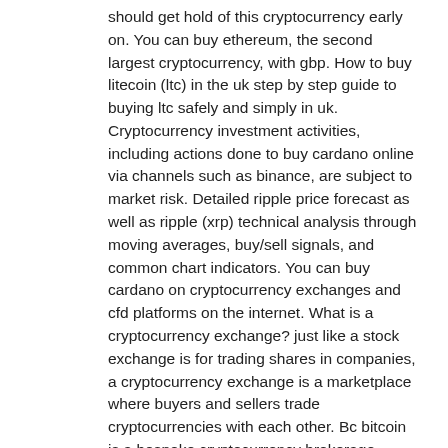should get hold of this cryptocurrency early on. You can buy ethereum, the second largest cryptocurrency, with gbp. How to buy litecoin (ltc) in the uk step by step guide to buying ltc safely and simply in uk. Cryptocurrency investment activities, including actions done to buy cardano online via channels such as binance, are subject to market risk. Detailed ripple price forecast as well as ripple (xrp) technical analysis through moving averages, buy/sell signals, and common chart indicators. You can buy cardano on cryptocurrency exchanges and cfd platforms on the internet. What is a cryptocurrency exchange? just like a stock exchange is for trading shares in companies, a cryptocurrency exchange is a marketplace where buyers and sellers trade cryptocurrencies with each other. Bc bitcoin is a bespoke cryptocurrency brokerage platform registered in the uk. It provides buying, selling, holding and exchange services for all of the most popular cryptocurrencies. Cardano's primary cryptocurrency is ada, you can use a cryptocurrency platform to buy cardano ada if you wish to. Cardano is being built from the